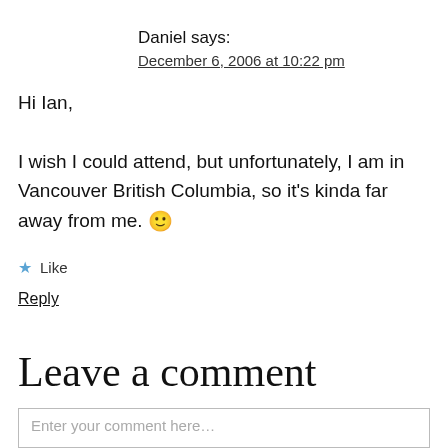Daniel says:
December 6, 2006 at 10:22 pm
Hi Ian,

I wish I could attend, but unfortunately, I am in Vancouver British Columbia, so it's kinda far away from me. 🙂
★ Like
Reply
Leave a comment
Enter your comment here…